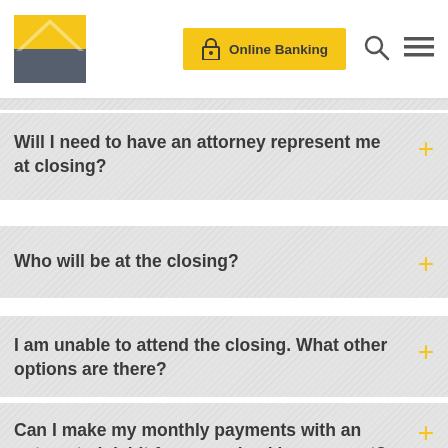Online Banking [logo]
What happens at the loan Closing? [partially visible at top]
Will I need to have an attorney represent me at closing?
Who will be at the closing?
I am unable to attend the closing. What other options are there?
Can I make my monthly payments with an automated debit from my checking account?